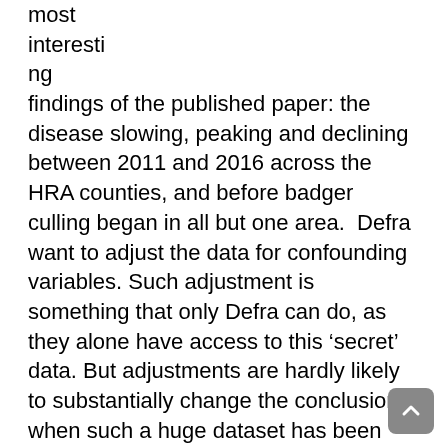most interesting findings of the published paper: the disease slowing, peaking and declining between 2011 and 2016 across the HRA counties, and before badger culling began in all but one area.  Defra want to adjust the data for confounding variables. Such adjustment is something that only Defra can do, as they alone have access to this ‘secret’ data. But adjustments are hardly likely to substantially change the conclusions, when such a huge dataset has been used in the analysis (over 20,000 herd a year).  Mention has been made of changes in badger cull buffer areas and badger population numbers, but the strength and validity of that data is questionable and presently obscure.

The Defra letter is particularly disappointing, given that Defra/APHA should have been using data to show...